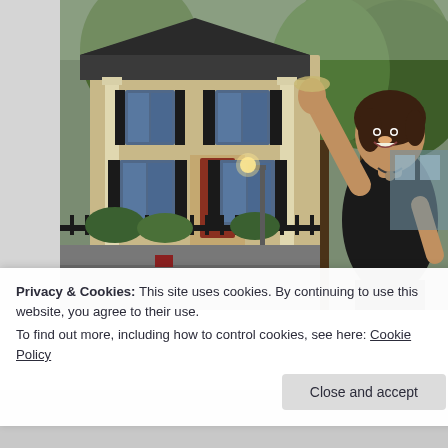[Figure (photo): A woman in a black top with her arm raised, standing in front of a two-story colonial-style house with black shutters and large trees on a street. The photo is taken at dusk/evening.]
Privacy & Cookies: This site uses cookies. By continuing to use this website, you agree to their use.
To find out more, including how to control cookies, see here: Cookie Policy
Close and accept